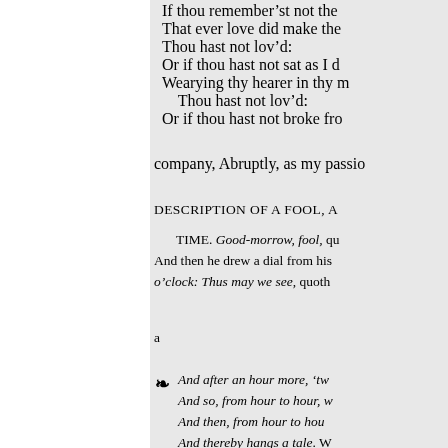If thou remember'st not the
That ever love did make the
Thou hast not lov'd:
Or if thou hast not sat as I d
Wearying thy hearer in thy m
 Thou hast not lov'd:
Or if thou hast not broke fro
company, Abruptly, as my passio
DESCRIPTION OF A FOOL, A
TIME. Good-morrow, fool, qu
And then he drew a dial from his
o'clock: Thus may we see, quoth
a
And after an hour more, 'tw
And so, from hour to hour, w
And then, from hour to hou
And thereby hangs a tale. W
The motley fool thus moral
My lungs began to crow lik
That fools should be so dee